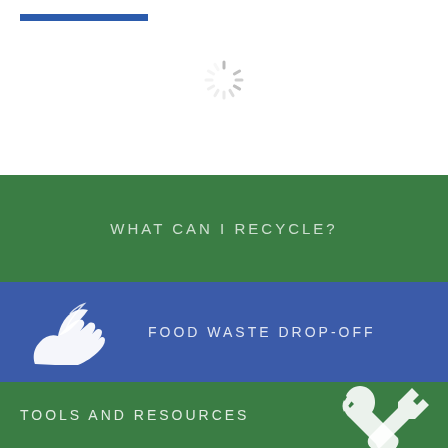[Figure (other): Blue horizontal bar / underline decoration]
[Figure (other): Spinner / loading indicator icon in gray]
WHAT CAN I RECYCLE?
[Figure (other): White icon of hands holding food/plant (food waste drop-off)]
FOOD WASTE DROP-OFF
TOOLS AND RESOURCES
[Figure (other): White wrench and screwdriver crossed (tools and resources icon)]